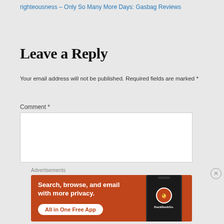righteousness – Only So Many More Days: Gasbag Reviews
Leave a Reply
Your email address will not be published. Required fields are marked *
Comment *
Advertisements
[Figure (screenshot): DuckDuckGo advertisement banner with orange background showing text 'Search, browse, and email with more privacy. All in One Free App' and a phone image with DuckDuckGo logo]